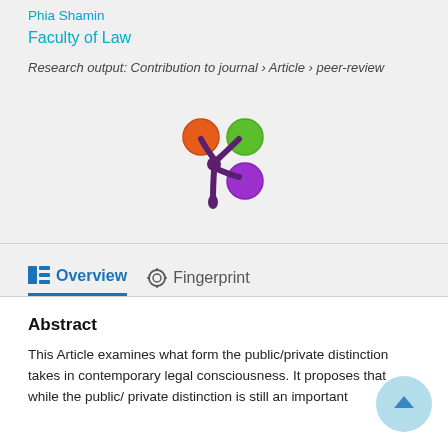Phia Shamin
Faculty of Law
Research output: Contribution to journal › Article › peer-review
[Figure (logo): Altmetric-style logo with colorful circles (orange, green, purple) on dark purple stalks forming a flower/atom shape]
Overview
Fingerprint
Abstract
This Article examines what form the public/private distinction takes in contemporary legal consciousness. It proposes that while the public/ private distinction is still an important